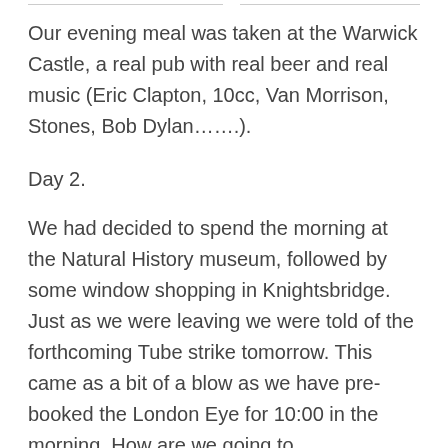Our evening meal was taken at the Warwick Castle, a real pub with real beer and real music (Eric Clapton, 10cc, Van Morrison, Stones, Bob Dylan…….).
Day 2.
We had decided to spend the morning at the Natural History museum, followed by some window shopping in Knightsbridge. Just as we were leaving we were told of the forthcoming Tube strike tomorrow. This came as a bit of a blow as we have pre-booked the London Eye for 10:00 in the morning. How are we going to